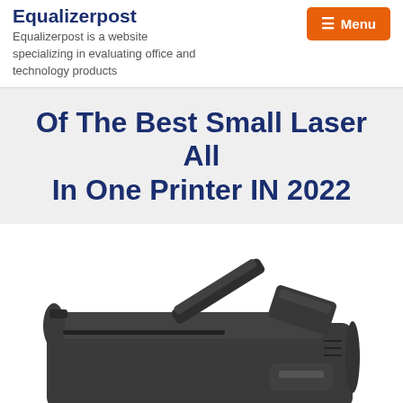Equalizerpost — Equalizerpost is a website specializing in evaluating office and technology products
Of The Best Small Laser All In One Printer IN 2022
[Figure (photo): Photo of a dark gray laser all-in-one printer/scanner with document feeder open, viewed from a slight angle above]